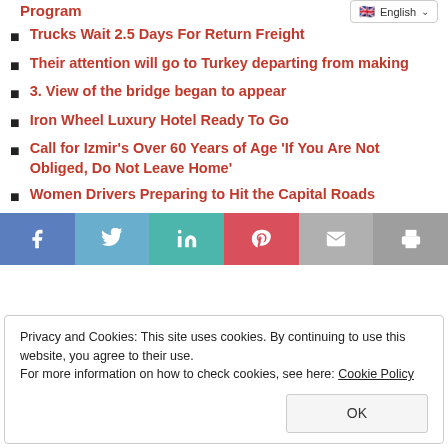Program
Trucks Wait 2.5 Days For Return Freight
Their attention will go to Turkey departing from making
3. View of the bridge began to appear
Iron Wheel Luxury Hotel Ready To Go
Call for Izmir's Over 60 Years of Age 'If You Are Not Obliged, Do Not Leave Home'
Women Drivers Preparing to Hit the Capital Roads
[Figure (infographic): Social share bar with Facebook, Twitter, LinkedIn, Pinterest, Email, and Print buttons]
Privacy and Cookies: This site uses cookies. By continuing to use this website, you agree to their use. For more information on how to check cookies, see here: Cookie Policy